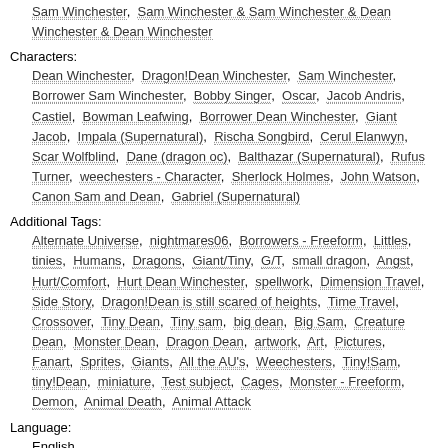Sam Winchester,  Sam Winchester & Sam Winchester & Dean Winchester & Dean Winchester
Characters:
Dean Winchester,  Dragon!Dean Winchester,  Sam Winchester,  Borrower Sam Winchester,  Bobby Singer,  Oscar,  Jacob Andris,  Castiel,  Bowman Leafwing,  Borrower Dean Winchester,  Giant Jacob,  Impala (Supernatural),  Rischa Songbird,  Cerul Elanwyn,  Scar Wolfblind,  Dane (dragon oc),  Balthazar (Supernatural),  Rufus Turner,  weechesters - Character,  Sherlock Holmes,  John Watson,  Canon Sam and Dean,  Gabriel (Supernatural)
Additional Tags:
Alternate Universe,  nightmares06,  Borrowers - Freeform,  Littles,  tinies,  Humans,  Dragons,  Giant/Tiny,  G/T,  small dragon,  Angst,  Hurt/Comfort,  Hurt Dean Winchester,  spellwork,  Dimension Travel,  Side Story,  Dragon!Dean is still scared of heights,  Time Travel,  Crossover,  Tiny Dean,  Tiny sam,  big dean,  Big Sam,  Creature Dean,  Monster Dean,  Dragon Dean,  artwork,  Art,  Pictures,  Fanart,  Sprites,  Giants,  All the AU's,  Weechesters,  Tiny!Sam,  tiny!Dean,  miniature,  Test subject,  Cages,  Monster - Freeform,  Demon,  Animal Death,  Animal Attack
Language:
English
Series:
← Previous Work • Part 2 of the Dragon Dean series series • Next